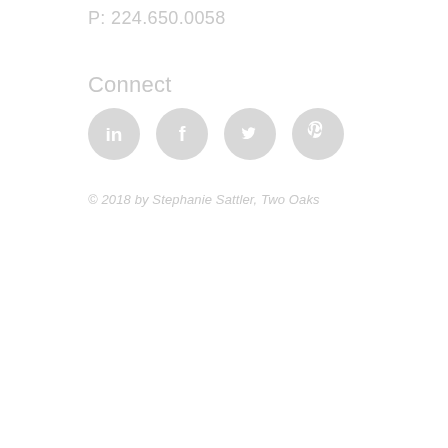P: 224.650.0058
Connect
[Figure (illustration): Four circular social media icons (LinkedIn, Facebook, Twitter, Pinterest) in light gray]
© 2018 by Stephanie Sattler, Two Oaks